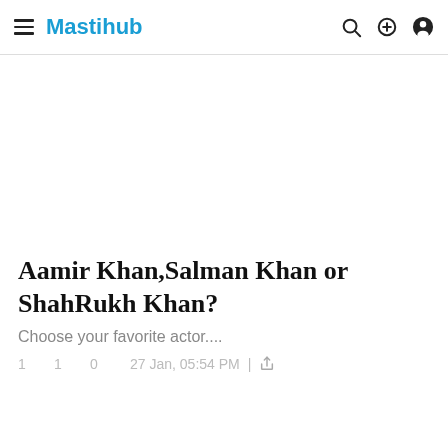Mastihub
Aamir Khan,Salman Khan or ShahRukh Khan?
Choose your favorite actor....
1    1    0    27 Jan, 05:54 PM  |  share